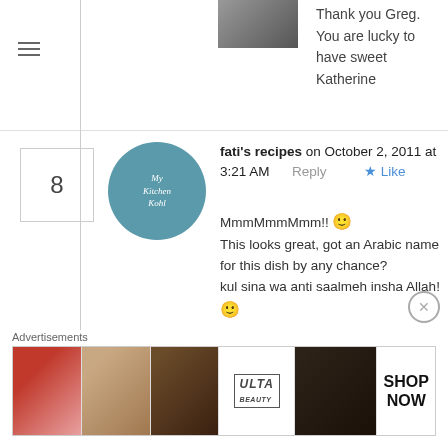[Figure (photo): Small profile photo of commenter visible at top]
Thank you Greg.
You are lucky to have sweet Katherine
fati's recipes on October 2, 2011 at 3:21 AM   Reply   ★ Like
MmmMmmMmm!! 🙂 This looks great, got an Arabic name for this dish by any chance? kul sina wa anti saalmeh insha Allah! 🙂

Stunning pics by the way!
[Figure (logo): My Kitchen Kohl logo - teal circle with cursive text]
Advertisements
[Figure (photo): ULTA beauty advertisement banner showing makeup and eyes with SHOP NOW text]